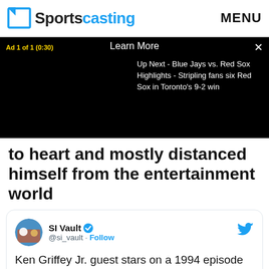Sportscasting | MENU
[Figure (screenshot): Video ad overlay showing 'Ad 1 of 1 (0:30)', 'Learn More', close button X, and 'Up Next - Blue Jays vs. Red Sox Highlights - Stripling fans six Red Sox in Toronto's 9-2 win']
to heart and mostly distanced himself from the entertainment world
[Figure (screenshot): Embedded tweet from SI Vault (@si_vault) with Follow link and Twitter bird icon. Tweet text: Ken Griffey Jr. guest stars on a 1994 episode of 'Fresh Prince of Bell Air'. Bottom shows partial image strip.]